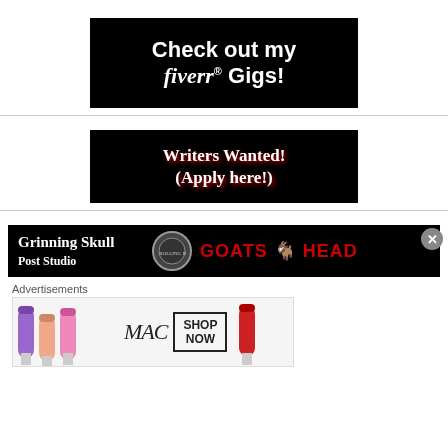[Figure (illustration): Black banner ad reading 'Check out my fiverr® Gigs!' in white bold text on black background]
[Figure (illustration): Black banner ad reading 'Writers Wanted! (Apply here!)' in white serif text with red shadow on black background]
[Figure (illustration): Black banner strip showing 'Grinning Skull' text, a circular logo, and 'GOATS HEAD' in red text]
Advertisements
[Figure (illustration): MAC cosmetics advertisement showing lipsticks, MAC logo, and SHOP NOW button]